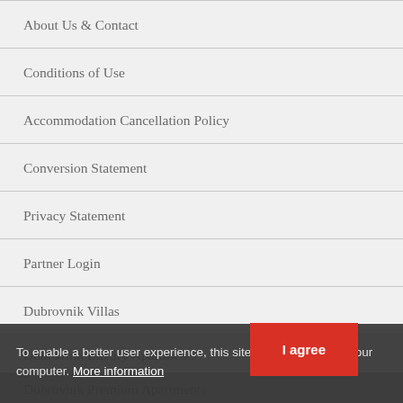About Us & Contact
Conditions of Use
Accommodation Cancellation Policy
Conversion Statement
Privacy Statement
Partner Login
Dubrovnik Villas
Dubrovnik Luxury Apartments
Dubrovnik Premium Apartments
Dubrovnik Value Apartments
To enable a better user experience, this site stores cookies to your computer. More information
I agree